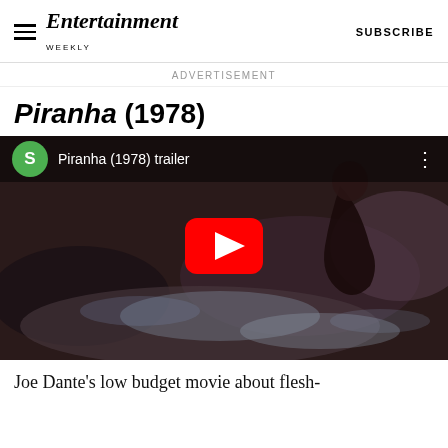Entertainment Weekly — SUBSCRIBE
ADVERTISEMENT
Piranha (1978)
[Figure (screenshot): YouTube video thumbnail for 'Piranha (1978) trailer' showing a dark scene with churning water. A green channel icon with letter S is visible in the top-left, the video title 'Piranha (1978) trailer' appears next to it, a three-dot menu icon is on the right, and a large red YouTube play button is centered on the thumbnail.]
Joe Dante's low budget movie about flesh-